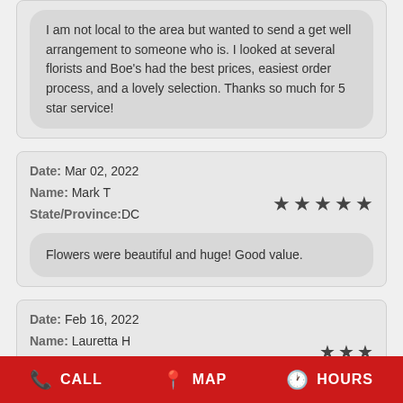I am not local to the area but wanted to send a get well arrangement to someone who is. I looked at several florists and Boe's had the best prices, easiest order process, and a lovely selection. Thanks so much for 5 star service!
Date: Mar 02, 2022
Name: Mark T
State/Province: DC
★★★★★
Flowers were beautiful and huge! Good value.
Date: Feb 16, 2022
Name: Lauretta H
State/Province: NC
★★★
CALL   MAP   HOURS